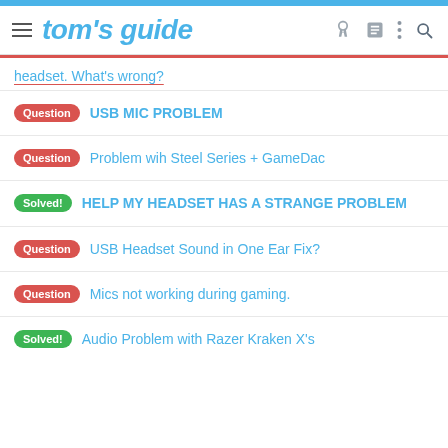tom's guide
headset. What's wrong?
Question USB MIC PROBLEM
Question Problem wih Steel Series + GameDac
Solved! HELP MY HEADSET HAS A STRANGE PROBLEM
Question USB Headset Sound in One Ear Fix?
Question Mics not working during gaming.
Solved! Audio Problem with Razer Kraken X's